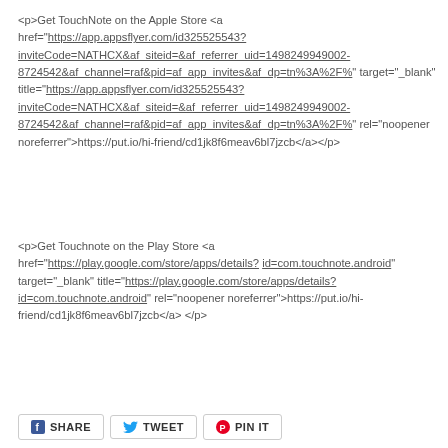<p>Get TouchNote on the Apple Store <a href="https://app.appsflyer.com/id325525543?inviteCode=NATHCX&af_siteid=&af_referrer_uid=1498249949002-8724542&af_channel=raf&pid=af_app_invites&af_dp=tn%3A%2F% target="_blank" title="https://app.appsflyer.com/id325525543?inviteCode=NATHCX&af_siteid=&af_referrer_uid=1498249949002-8724542&af_channel=raf&pid=af_app_invites&af_dp=tn%3A%2F% rel="noopener noreferrer">https://put.io/hi-friend/cd1jk8f6meav6bl7jzcb</a></p>
<p>Get Touchnote on the Play Store <a href="https://play.google.com/store/apps/details?id=com.touchnote.android" target="_blank" title="https://play.google.com/store/apps/details?id=com.touchnote.android" rel="noopener noreferrer">https://put.io/hi-friend/cd1jk8f6meav6bl7jzcb</a></p>